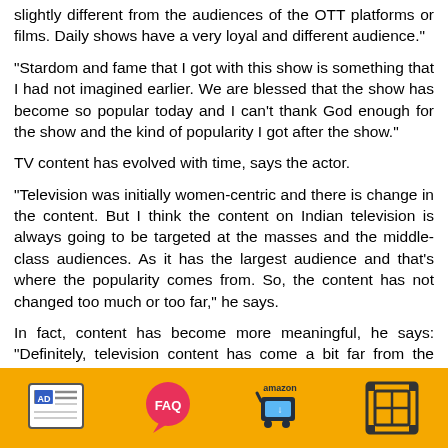slightly different from the audiences of the OTT platforms or films. Daily shows have a very loyal and different audience."
"Stardom and fame that I got with this show is something that I had not imagined earlier. We are blessed that the show has become so popular today and I can't thank God enough for the show and the kind of popularity I got after the show."
TV content has evolved with time, says the actor.
"Television was initially women-centric and there is change in the content. But I think the content on Indian television is always going to be targeted at the masses and the middle-class audiences. As it has the largest audience and that's where the popularity comes from. So, the content has not changed too much or too far," he says.
In fact, content has become more meaningful, he says: "Definitely, television content has come a bit far from the saas-bahu shows that you used to be there earlier. Now, there is a lot more that television offers in terms of the character and the kind of relationship that you get to see
[Figure (infographic): Orange advertisement/app bar at the bottom with four icons: AD (newspaper-style icon), FAQ (red speech bubble), Amazon (shopping cart with amazon text), and a video/film frame icon]